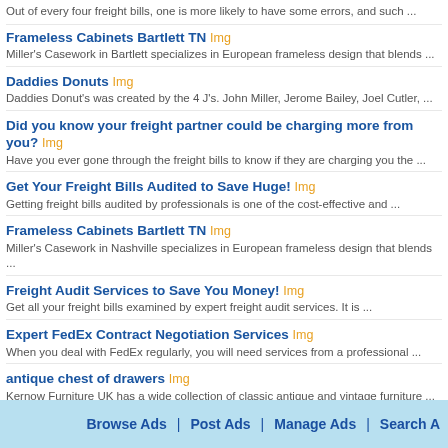Out of every four freight bills, one is more likely to have some errors, and such ...
Frameless Cabinets Bartlett TN Img
Miller's Casework in Bartlett specializes in European frameless design that blends ...
Daddies Donuts Img
Daddies Donut's was created by the 4 J's. John Miller, Jerome Bailey, Joel Cutler, ...
Did you know your freight partner could be charging more from you? Img
Have you ever gone through the freight bills to know if they are charging you the ...
Get Your Freight Bills Audited to Save Huge! Img
Getting freight bills audited by professionals is one of the cost-effective and ...
Frameless Cabinets Bartlett TN Img
Miller's Casework in Nashville specializes in European frameless design that blends ...
Freight Audit Services to Save You Money! Img
Get all your freight bills examined by expert freight audit services. It is ...
Expert FedEx Contract Negotiation Services Img
When you deal with FedEx regularly, you will need services from a professional ...
antique chest of drawers Img
Kernow Furniture UK has a wide collection of classic antique and vintage furniture ...
vintage furniture Img
Are you looking for the best antique and vintage furniture in UK? Kernow Furniture ...
Ask Betachon for time-effective FedEx invoice adjustment Img
Betachon offer best FedEx invoice adjustment services to many business firms. They ...
Save your money now! Get your wheels repaired in Mesa
Factors as well as custom wheels are not as cheap as you think. However, this does ...
Browse Ads | Post Ads | Manage Ads | Search A